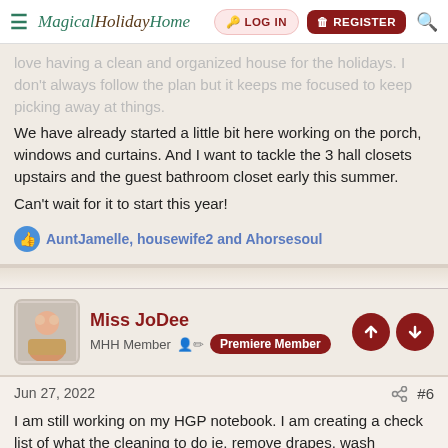MagicalHolidayHome | LOG IN | REGISTER
love having a clean and organized house for the holidays. I don't always follow the plan but it keeps me focused to keep picking away at things.
We have already started a little bit here working on the porch, windows and curtains. And I want to tackle the 3 hall closets upstairs and the guest bathroom closet early this summer.
Can't wait for it to start this year!
AuntJamelle, housewife2 and Ahorsesoul
Miss JoDee
MHH Member  Premiere Member
Jun 27, 2022  #6
I am still working on my HGP notebook. I am creating a check list of what the cleaning to do ie, remove drapes, wash windows and sills, wipe down baseboard etc) I will put this list